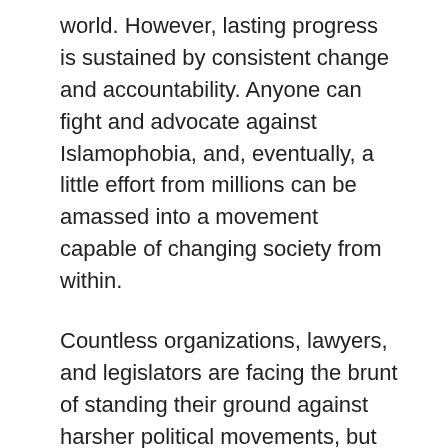world. However, lasting progress is sustained by consistent change and accountability. Anyone can fight and advocate against Islamophobia, and, eventually, a little effort from millions can be amassed into a movement capable of changing society from within.
Countless organizations, lawyers, and legislators are facing the brunt of standing their ground against harsher political movements, but the public perspective must change first. In India, is important to communicate the despicable nature of Islamophobia online. Residents can report to the police commissioner or the District Magistrate in-person, or they can tag national authorities on social media such as the Ministry of Home, international human rights groups, and UN agencies. Openly support your neighbors or community members and help them file